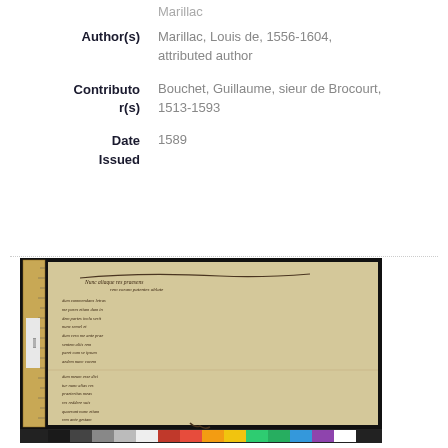Marillac
| Author(s) | Marillac, Louis de, 1556-1604, attributed author |
| Contributor(s) | Bouchet, Guillaume, sieur de Brocourt, 1513-1593 |
| Date Issued | 1589 |
[Figure (photo): Photograph of a historical manuscript page with handwritten text in old script, accompanied by a ruler on the left side and a color calibration bar at the bottom.]